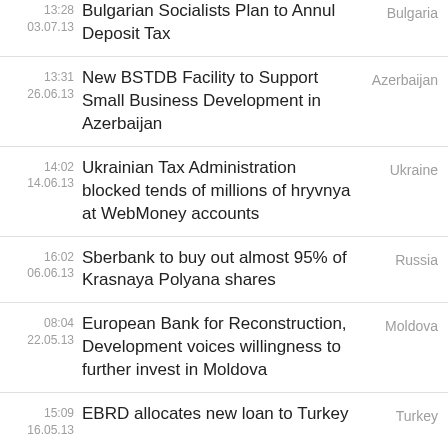13:28 / 03.07.13 | Bulgarian Socialists Plan to Annul Deposit Tax | Bulgaria
13:31 / 26.06.13 | New BSTDB Facility to Support Small Business Development in Azerbaijan | Azerbaijan
14:02 / 14.06.13 | Ukrainian Tax Administration blocked tends of millions of hryvnya at WebMoney accounts | Ukraine
16:02 / 06.06.13 | Sberbank to buy out almost 95% of Krasnaya Polyana shares | Russia
08:04 / 22.05.13 | European Bank for Reconstruction, Development voices willingness to further invest in Moldova | Moldova
15:09 / 16.05.13 | EBRD allocates new loan to Turkey | Turkey